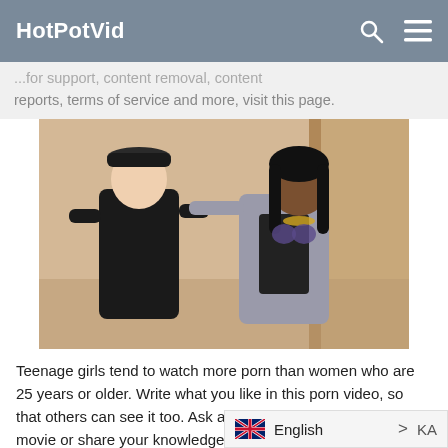HotPotVid
...for support, content removal, content reports, terms of service and more, visit this page.
[Figure (photo): Two people standing in a doorway/hallway, one wearing a black cap and jacket, the other a woman in a grey blazer and lingerie top.]
Teenage girls tend to watch more porn than women who are 25 years or older. Write what you like in this porn video, so that others can see it too. Ask about pornstar starring this movie or share your knowledge with others. The b... Heather Harmon AKA ideanthread vide...
English > KA